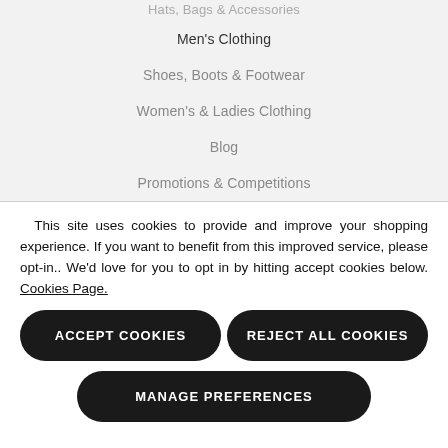Hats, Bags & Accessories
Men's Clothing
Shoes, Boots & Footwear
Women's & Ladies Clothing
Blog
Promotions & Competitions
This site uses cookies to provide and improve your shopping experience. If you want to benefit from this improved service, please opt-in.. We'd love for you to opt in by hitting accept cookies below. Cookies Page.